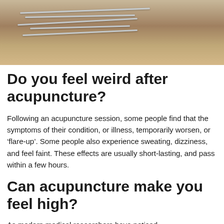[Figure (photo): Close-up photo of acupuncture needles in packaging, arranged on a wooden surface]
Do you feel weird after acupuncture?
Following an acupuncture session, some people find that the symptoms of their condition, or illness, temporarily worsen, or ‘flare-up’. Some people also experience sweating, dizziness, and feel faint. These effects are usually short-lasting, and pass within a few hours.
Can acupuncture make you feel high?
As modern medical researchers have noticed